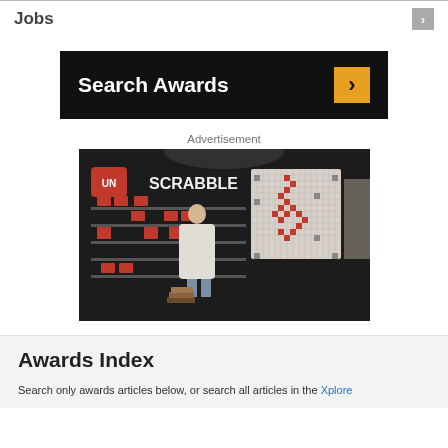Jobs
[Figure (screenshot): Black banner with 'Search Awards' text in white bold and an orange arrow button on the right]
Advertisement
[Figure (photo): Photo of a person standing in front of a large Scrabble-themed wall display labeled 'UNSCRABBLE' with red tiles arranged in a crossword pattern]
Awards Index
Search only awards articles below, or search all articles in the Xplore